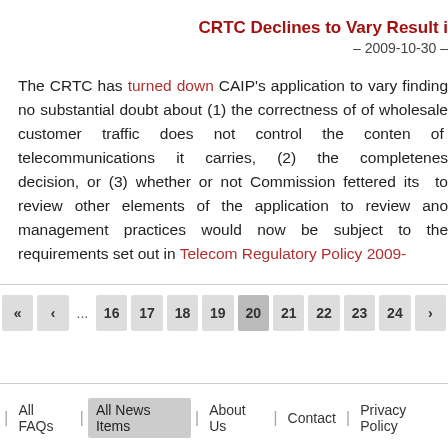CRTC Declines to Vary Result i
– 2009-10-30 –
The CRTC has turned down CAIP's application to vary finding no substantial doubt about (1) the correctness of of wholesale customer traffic does not control the conten of telecommunications it carries, (2) the completenes decision, or (3) whether or not Commission fettered its to review other elements of the application to review ano management practices would now be subject to the requirements set out in Telecom Regulatory Policy 2009-
All FAQs | All News Items | About Us | Contact | Privacy Policy